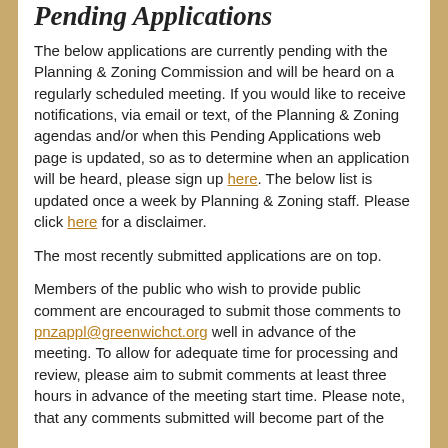Pending Applications
The below applications are currently pending with the Planning & Zoning Commission and will be heard on a regularly scheduled meeting. If you would like to receive notifications, via email or text, of the Planning & Zoning agendas and/or when this Pending Applications web page is updated, so as to determine when an application will be heard, please sign up here. The below list is updated once a week by Planning & Zoning staff. Please click here for a disclaimer.
The most recently submitted applications are on top.
Members of the public who wish to provide public comment are encouraged to submit those comments to pnzappl@greenwichct.org well in advance of the meeting. To allow for adequate time for processing and review, please aim to submit comments at least three hours in advance of the meeting start time. Please note, that any comments submitted will become part of the